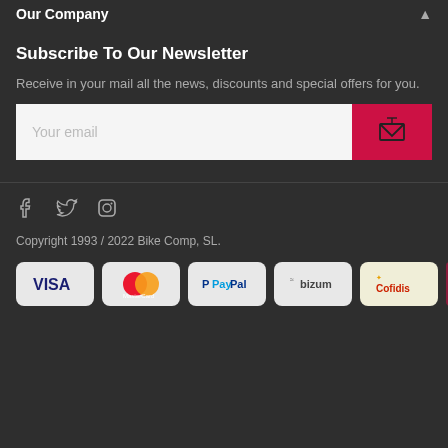Our Company
Subscribe To Our Newsletter
Receive in your mail all the news, discounts and special offers for you.
Your email
Copyright 1993 / 2022 Bike Comp, SL.
[Figure (logo): Payment method logos: VISA, MasterCard, PayPal, bizum, Cofidis]